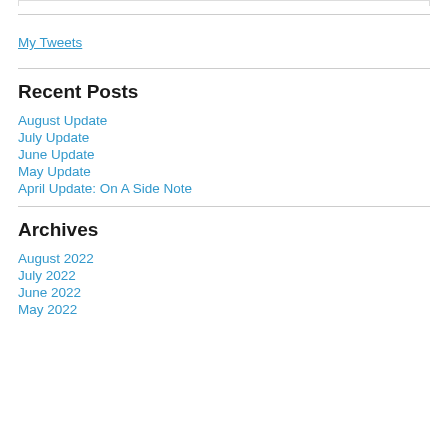My Tweets
Recent Posts
August Update
July Update
June Update
May Update
April Update: On A Side Note
Archives
August 2022
July 2022
June 2022
May 2022